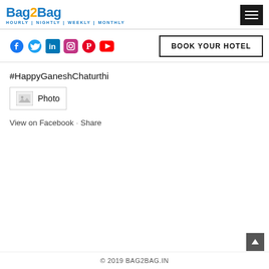Bag2Bag HOURLY | NIGHTLY | WEEKLY | MONTHLY
[Figure (logo): Bag2Bag logo with tagline HOURLY | NIGHTLY | WEEKLY | MONTHLY]
#HappyGaneshChaturthi
Photo
View on Facebook · Share
© 2019 BAG2BAG.IN